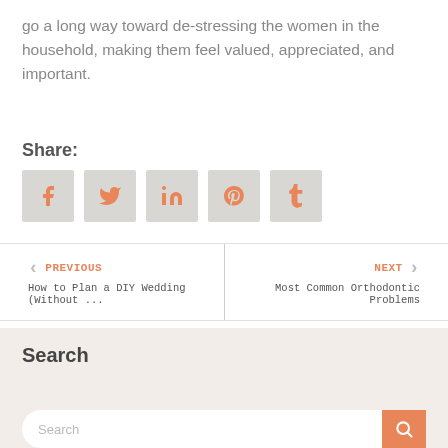go a long way toward de-stressing the women in the household, making them feel valued, appreciated, and important.
Share:
[Figure (infographic): Five social media share buttons: Facebook, Twitter, LinkedIn, Pinterest, Tumblr — grey background squares with orange icons]
PREVIOUS
How to Plan a DIY Wedding (Without ...
NEXT
Most Common Orthodontic Problems
Search
Search